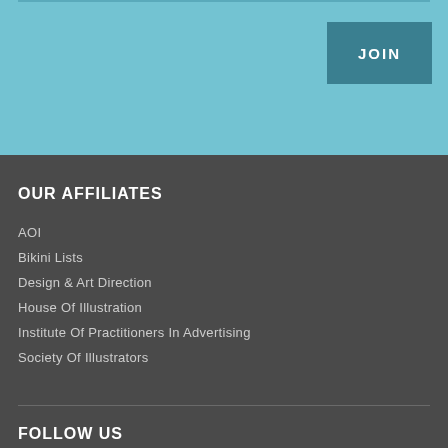[Figure (other): Light blue banner section with a dark teal JOIN button in the upper right]
OUR AFFILIATES
AOI
Bikini Lists
Design & Art Direction
House Of Illustration
Institute Of Practitioners In Advertising
Society Of Illustrators
FOLLOW US